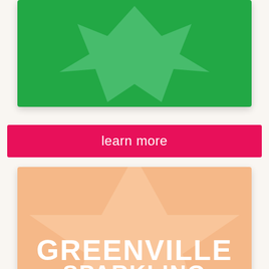[Figure (illustration): Green card with a lighter green star/bookmark shape in the center on a bright green background]
learn more
[Figure (illustration): Peach/orange card with a lighter peach star shape and white bold text reading GREENVILLE and partial text below it]